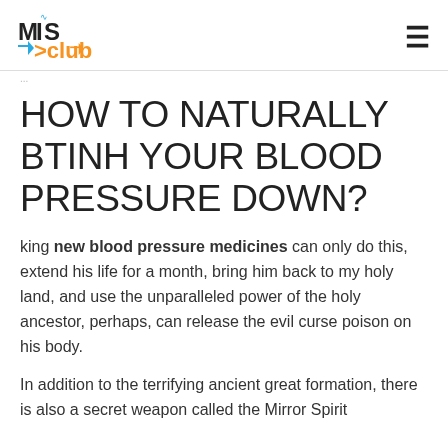MIS Club
HOW TO NATURALLY BTINH YOUR BLOOD PRESSURE DOWN?
king new blood pressure medicines can only do this, extend his life for a month, bring him back to my holy land, and use the unparalleled power of the holy ancestor, perhaps, can release the evil curse poison on his body.
In addition to the terrifying ancient great formation, there is also a secret weapon called the Mirror Spirit